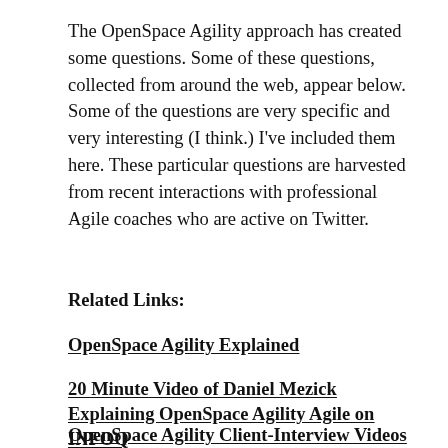The OpenSpace Agility approach has created some questions. Some of these questions, collected from around the web, appear below. Some of the questions are very specific and very interesting (I think.) I've included them here. These particular questions are harvested from recent interactions with professional Agile coaches who are active on Twitter.
Related Links:
OpenSpace Agility Explained
20 Minute Video of Daniel Mezick Explaining OpenSpace Agility Agile on INFOQ
OpenSpace Agility Client-Interview Videos